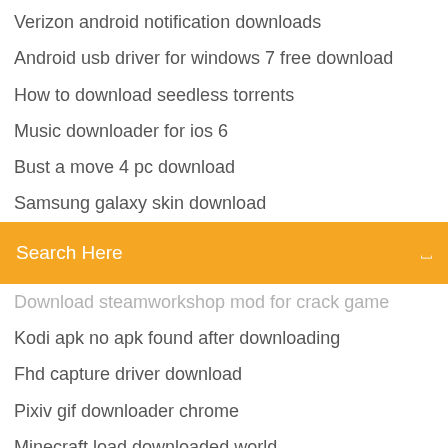Verizon android notification downloads
Android usb driver for windows 7 free download
How to download seedless torrents
Music downloader for ios 6
Bust a move 4 pc download
Samsung galaxy skin download
[Figure (screenshot): Orange search bar with text 'Search Here' and a small icon on the right]
Download steamworkshop mod for crack game
Kodi apk no apk found after downloading
Fhd capture driver download
Pixiv gif downloader chrome
Minecraft load downloaded world
Iheartradio apk mod v7.3.3 unlimited skips download
Why does jupyter not download everything pdf
Ragnarok m eternal love download for pc nox
Houzz apk free download
Ps4 how to decrease download time
Manualslib com for free pdf downloads